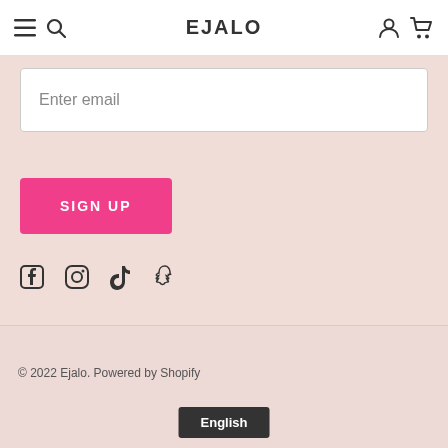EJALO
Enter email
SIGN UP
[Figure (other): Social media icons: Facebook, Instagram, TikTok, Snapchat]
© 2022 Ejalo. Powered by Shopify
English